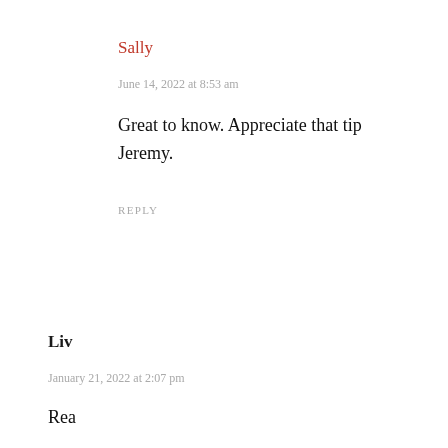Sally
June 14, 2022 at 8:53 am
Great to know. Appreciate that tip Jeremy.
REPLY
Liv
January 21, 2022 at 2:07 pm
Rea...